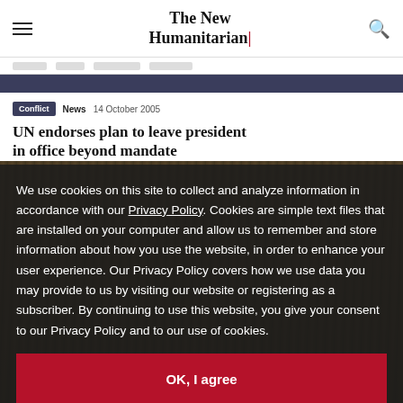The New Humanitarian
Conflict  News  14 October 2005
UN endorses plan to leave president in office beyond mandate
[Figure (photo): Background photo of a crowd, dark-toned image partially obscured by cookie consent overlay]
We use cookies on this site to collect and analyze information in accordance with our Privacy Policy. Cookies are simple text files that are installed on your computer and allow us to remember and store information about how you use the website, in order to enhance your user experience. Our Privacy Policy covers how we use data you may provide to us by visiting our website or registering as a subscriber. By continuing to use this website, you give your consent to our Privacy Policy and to our use of cookies.
OK, I agree